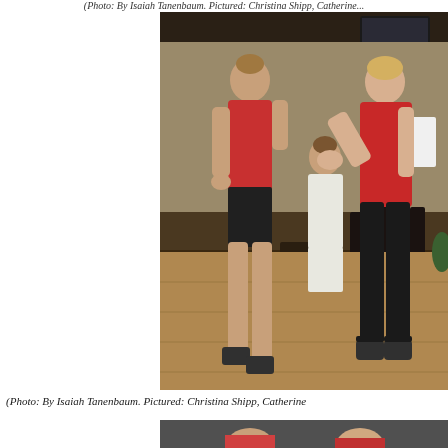(Photo: By Isaiah Tanenbaum. Pictured: Christina Shipp, Catherine...
[Figure (photo): Two women in red tank tops and black pants/shorts appear to be rehearsing or performing in a bar/restaurant space with wooden floors. One woman faces away, the other faces toward the camera holding papers. A third woman in white is visible in the background.]
(Photo: By Isaiah Tanenbaum. Pictured: Christina Shipp, Catherine
[Figure (photo): Partial view of a second photo showing two people from shoulders up, bottom strip only visible.]